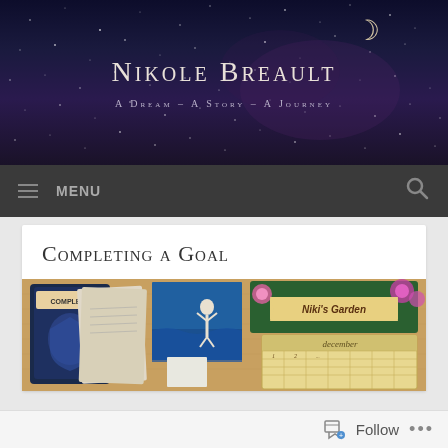Nikole Breault — A Dream – A Story – A Journey
Completing a Goal
[Figure (photo): Corkboard with various pinned items including a 'Complete' labeled packet, a yoga/dance photo, a garden painting labeled 'Niki's Garden', and a December calendar/planner.]
Follow